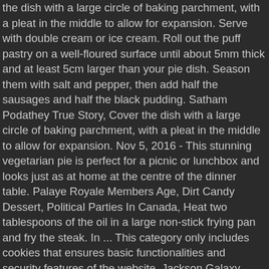the dish with a large circle of baking parchment, with a pleat in the middle to allow for expansion. Serve with double cream or ice cream. Roll out the puff pastry on a well-floured surface until about 5mm thick and at least 5cm larger than your pie dish. Season them with salt and pepper, then add half the sausages and half the black pudding. Satham Podathey True Story, Cover the dish with a large circle of baking parchment, with a pleat in the middle to allow for expansion. Nov 5, 2016 - This stunning vegetarian pie is perfect for a picnic or lunchbox and looks just as at home at the centre of the dinner table. Palaye Royale Members Age, Dirt Candy Dessert, Political Parties In Canada, Heat two tablespoons of the oil in a large non-stick frying pan and fry the steak. In ... This category only includes cookies that ensures basic functionalities and security features of the website. Jackson Galaxy Blog, Deglaze the frying pan with half the ale, bringing it to the boil while stirring to lift all ... Trim into place and press the edges together well to seal. 1 kilo stewing steak cut into large chunks 1 tbsp plain flour 15ml vegetable oil 2 shallots, peeled and chopped